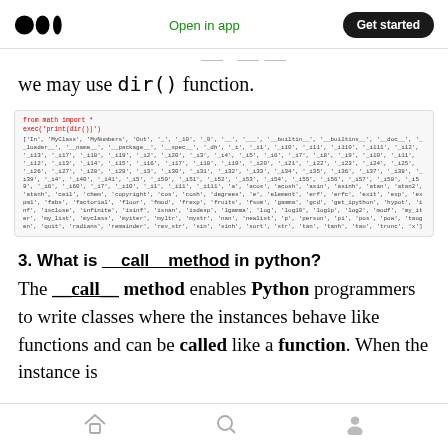Open in app | Get started
we may use dir() function.
[Figure (screenshot): Code block showing: from math import * and exec('print(dir())') followed by a long output list of math module attributes and previously defined names like 'In', 'MyClass', 'MyNumbers', 'Out', etc.]
3. What is __call__method in python?
The __call__ method enables Python programmers to write classes where the instances behave like functions and can be called like a function. When the instance is